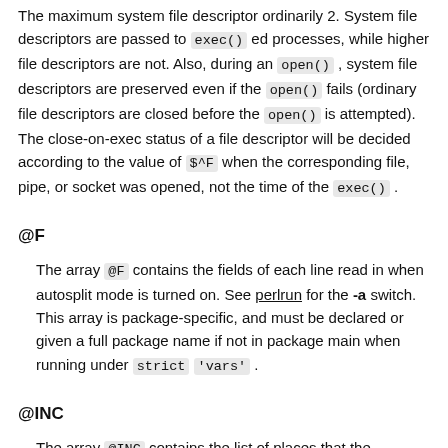The maximum system file descriptor ordinarily 2. System file descriptors are passed to exec() ed processes, while higher file descriptors are not. Also, during an open() , system file descriptors are preserved even if the open() fails (ordinary file descriptors are closed before the open() is attempted). The close-on-exec status of a file descriptor will be decided according to the value of $^F when the corresponding file, pipe, or socket was opened, not the time of the exec() .
@F
The array @F contains the fields of each line read in when autosplit mode is turned on. See perlrun for the -a switch. This array is package-specific, and must be declared or given a full package name if not in package main when running under strict 'vars' .
@INC
The array @INC contains the list of places that the